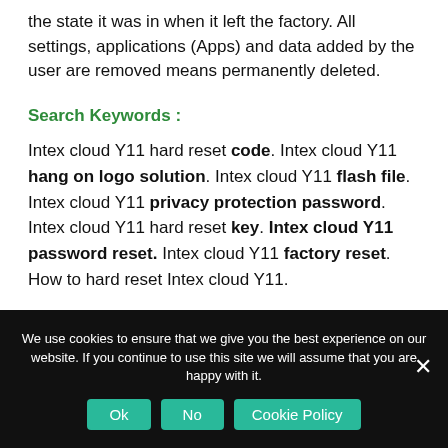the state it was in when it left the factory. All settings, applications (Apps) and data added by the user are removed means permanently deleted.
Search Keywords :
Intex cloud Y11 hard reset code. Intex cloud Y11 hang on logo solution. Intex cloud Y11 flash file. Intex cloud Y11 privacy protection password. Intex cloud Y11 hard reset key. Intex cloud Y11 password reset. Intex cloud Y11 factory reset. How to hard reset Intex cloud Y11.
We use cookies to ensure that we give you the best experience on our website. If you continue to use this site we will assume that you are happy with it.